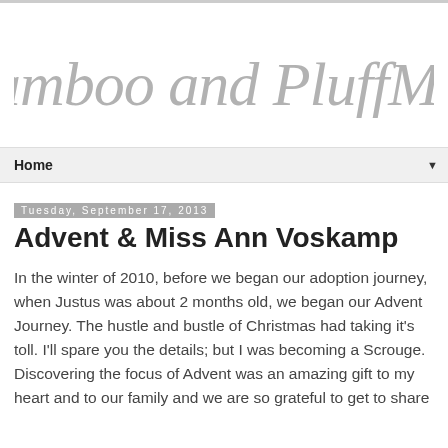[Figure (logo): Bamboo and PluffMud cursive script logo in gray]
Home ▼
Tuesday, September 17, 2013
Advent & Miss Ann Voskamp
In the winter of 2010, before we began our adoption journey, when Justus was about 2 months old, we began our Advent Journey. The hustle and bustle of Christmas had taking it's toll. I'll spare you the details; but I was becoming a Scrouge. Discovering the focus of Advent was an amazing gift to my heart and to our family and we are so grateful to get to share